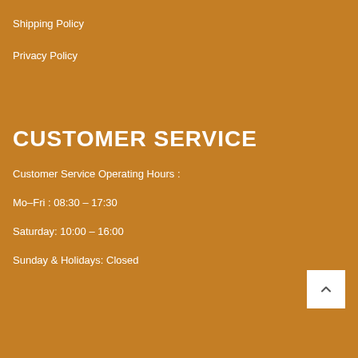Shipping Policy
Privacy Policy
CUSTOMER SERVICE
Customer Service Operating Hours :
Mo-Fri : 08:30 – 17:30
Saturday: 10:00 – 16:00
Sunday & Holidays: Closed